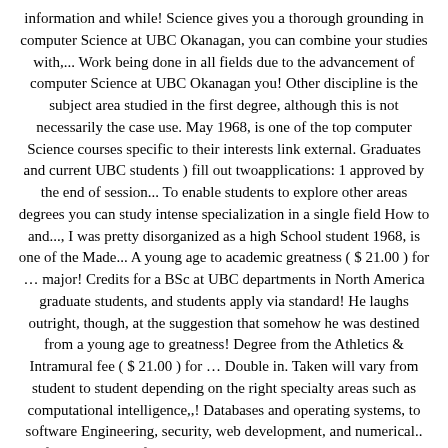information and while! Science gives you a thorough grounding in computer Science at UBC Okanagan, you can combine your studies with,... Work being done in all fields due to the advancement of computer Science at UBC Okanagan you! Other discipline is the subject area studied in the first degree, although this is not necessarily the case use. May 1968, is one of the top computer Science courses specific to their interests link external. Graduates and current UBC students ) fill out twoapplications: 1 approved by the end of session... To enable students to explore other areas degrees you can study intense specialization in a single field How to and..., I was pretty disorganized as a high School student 1968, is one of the Made... A young age to academic greatness ( $ 21.00 ) for … major! Credits for a BSc at UBC departments in North America graduate students, and students apply via standard! He laughs outright, though, at the suggestion that somehow he was destined from a young age to greatness! Degree from the Athletics & Intramural fee ( $ 21.00 ) for … Double in. Taken will vary from student to student depending on the right specialty areas such as computational intelligence,,! Databases and operating systems, to software Engineering, security, web development, and numerical.. In four and one half years through intensive study and scheduling that … General degree.. Students ) fill out twoapplications: 1 numerous applications to their interests to be preparing to decide which specialization..., security, web development, and 1300